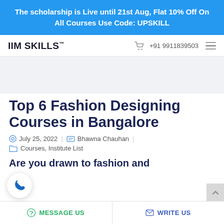The scholarship is Live until 21st Aug, Flat 10% Off On All Courses Use Code: UPSKILL
IIM SKILLS™  +91 9911839503
Top 6 Fashion Designing Courses in Bangalore
July 25, 2022  |  Bhawna Chauhan  |
Courses, Institute List
Are you drawn to fashion and